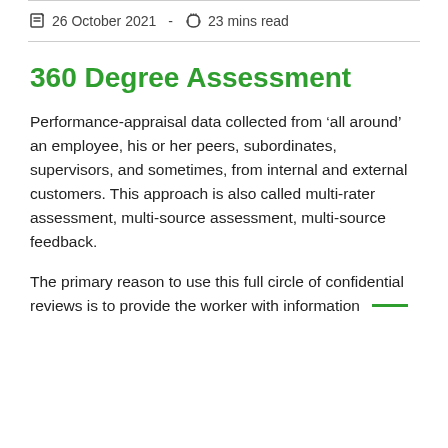26 October 2021  -  23 mins read
360 Degree Assessment
Performance-appraisal data collected from ‘all around’ an employee, his or her peers, subordinates, supervisors, and sometimes, from internal and external customers. This approach is also called multi-rater assessment, multi-source assessment, multi-source feedback.
The primary reason to use this full circle of confidential reviews is to provide the worker with information